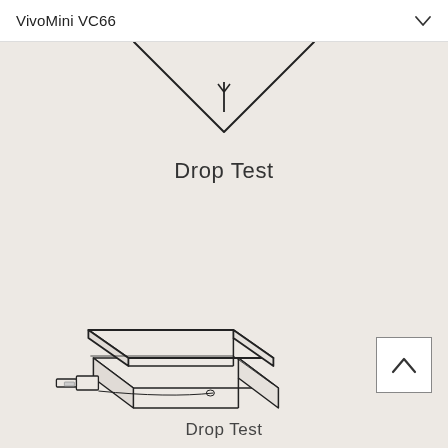VivoMini VC66
[Figure (illustration): Line drawing of the top portion of a drop test arrow pointing downward, partially cropped at top]
Drop Test
[Figure (illustration): Line drawing of a rectangular box/package with a connector cable, shown in isometric view representing a packaged product for drop test]
Drop Test